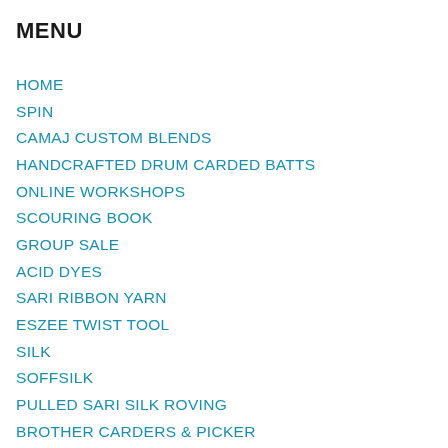MENU
HOME
SPIN
CAMAJ CUSTOM BLENDS
HANDCRAFTED DRUM CARDED BATTS
ONLINE WORKSHOPS
SCOURING BOOK
GROUP SALE
ACID DYES
SARI RIBBON YARN
ESZEE TWIST TOOL
SILK
SOFFSILK
PULLED SARI SILK ROVING
BROTHER CARDERS & PICKER